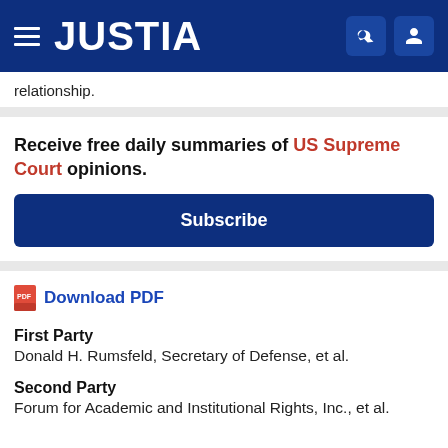JUSTIA
relationship.
Receive free daily summaries of US Supreme Court opinions.
Subscribe
Download PDF
First Party
Donald H. Rumsfeld, Secretary of Defense, et al.
Second Party
Forum for Academic and Institutional Rights, Inc., et al.